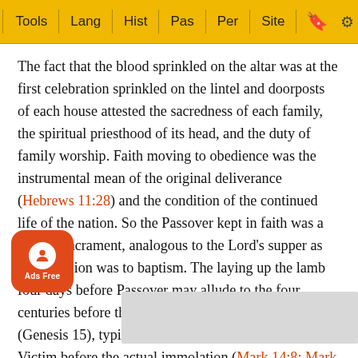Tools | Lang | Hist | Pas | Per | Site
The fact that the blood sprinkled on the altar was at the first celebration sprinkled on the lintel and doorposts of each house attested the sacredness of each family, the spiritual priesthood of its head, and the duty of family worship. Faith moving to obedience was the instrumental mean of the original deliverance (Hebrews 11:28) and the condition of the continued life of the nation. So the Passover kept in faith was a kind of sacrament, analogous to the Lord's supper as circumcision was to baptism. The laying up the lamb four days before Passover may allude to the four centuries before the promise to Abram was fulfilled (Genesis 15), typically to Christ's being marked as the Victim before the actual immolation (Mark 14:8; Mark 14:10-11). Christ's blood must be sprinkled on us by the hyssop of faith, else guilt and wrath remain (Isaiah 53:7; Acts 8:32; 1 Peter 1:18-19). Being first in the ... over stand...